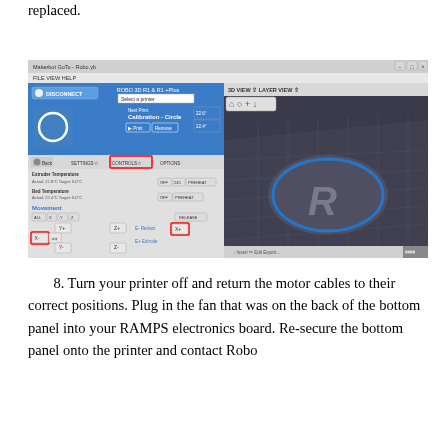replaced.
[Figure (screenshot): Screenshot of MakerBot software (Makerware) showing the Controls tab with Movement controls panel on the left. X- and X+ buttons are highlighted with red boxes. On the right is a 3D view showing a calibration circle print on a dark build plate with the ROBO 3D logo visible.]
8. Turn your printer off and return the motor cables to their correct positions. Plug in the fan that was on the back of the bottom panel into your RAMPS electronics board. Re-secure the bottom panel onto the printer and contact Robo